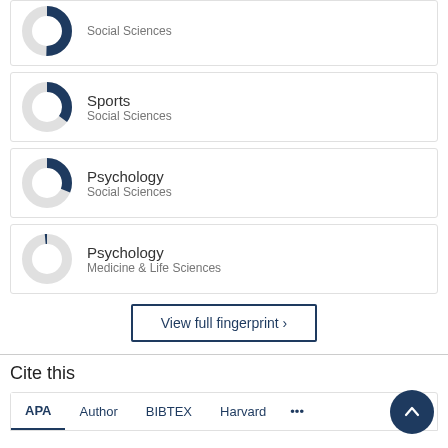Sports / Social Sciences
Psychology / Social Sciences
Psychology / Medicine & Life Sciences
View full fingerprint
Cite this
APA  Author  BIBTEX  Harvard  ...